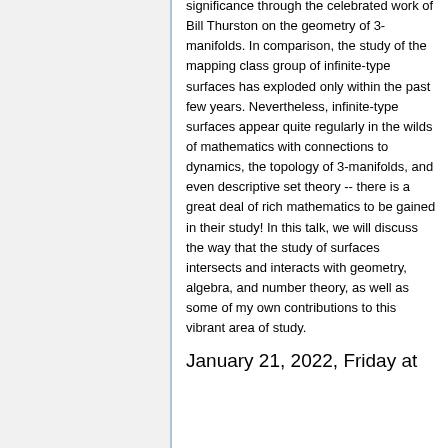significance through the celebrated work of Bill Thurston on the geometry of 3-manifolds. In comparison, the study of the mapping class group of infinite-type surfaces has exploded only within the past few years. Nevertheless, infinite-type surfaces appear quite regularly in the wilds of mathematics with connections to dynamics, the topology of 3-manifolds, and even descriptive set theory -- there is a great deal of rich mathematics to be gained in their study! In this talk, we will discuss the way that the study of surfaces intersects and interacts with geometry, algebra, and number theory, as well as some of my own contributions to this vibrant area of study.
January 21, 2022, Friday at